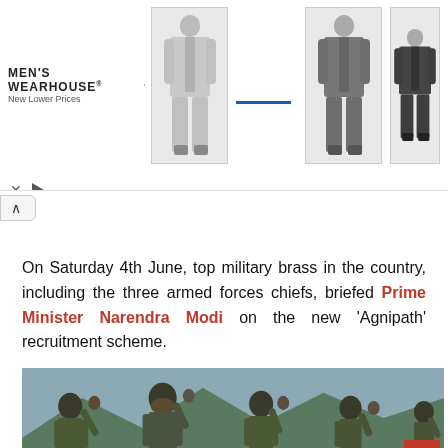[Figure (screenshot): Men's Wearhouse advertisement banner showing men in suits with 'New Lower Prices' tagline]
On Saturday 4th June, top military brass in the country, including the three armed forces chiefs, briefed Prime Minister Narendra Modi on the new 'Agnipath' recruitment scheme.
Meanwhile, the Union Cabinet is expected to approve a recruitment strategy for soldiers to be inducted into three defense services in the coming week.
[Figure (photo): Military soldiers in camouflage uniforms raising fists in salute with mountains in background]